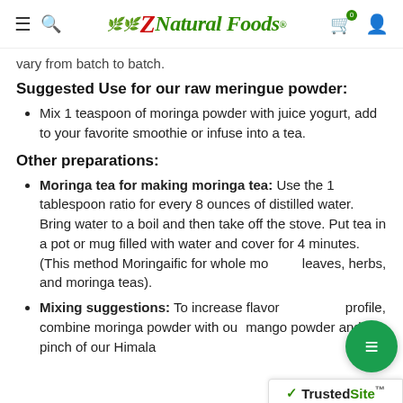Z Natural Foods
vary from batch to batch.
Suggested Use for our raw meringue powder:
Mix 1 teaspoon of moringa powder with juice yogurt, add to your favorite smoothie or infuse into a tea.
Other preparations:
Moringa tea for making moringa tea: Use the 1 tablespoon ratio for every 8 ounces of distilled water. Bring water to a boil and then take off the stove. Put tea in a pot or mug filled with water and cover for 4 minutes. (This method Moringaific for whole moringa leaves, herbs, and moringa teas).
Mixing suggestions: To increase flavor profile, combine moringa powder with our mango powder and a pinch of our Himala